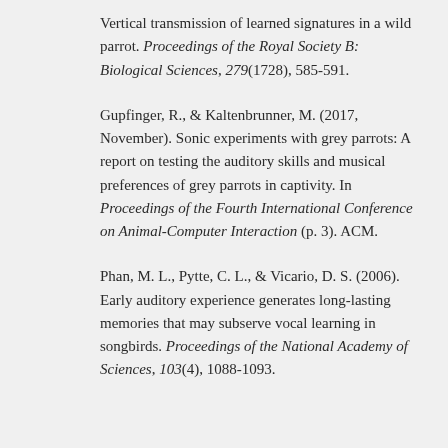Vertical transmission of learned signatures in a wild parrot. Proceedings of the Royal Society B: Biological Sciences, 279(1728), 585-591.
Gupfinger, R., & Kaltenbrunner, M. (2017, November). Sonic experiments with grey parrots: A report on testing the auditory skills and musical preferences of grey parrots in captivity. In Proceedings of the Fourth International Conference on Animal-Computer Interaction (p. 3). ACM.
Phan, M. L., Pytte, C. L., & Vicario, D. S. (2006). Early auditory experience generates long-lasting memories that may subserve vocal learning in songbirds. Proceedings of the National Academy of Sciences, 103(4), 1088-1093.